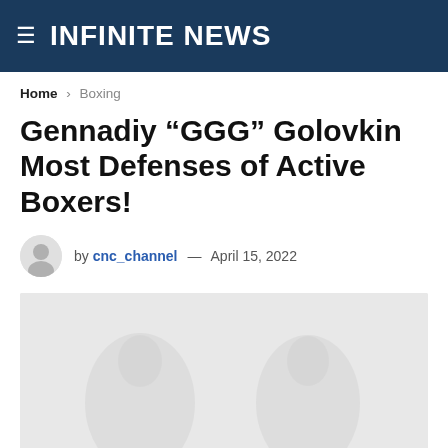INFINITE NEWS
Home › Boxing
Gennadiy “GGG” Golovkin Most Defenses of Active Boxers!
by cnc_channel — April 15, 2022
[Figure (photo): Featured image placeholder showing faint boxer silhouettes on a light gray background]